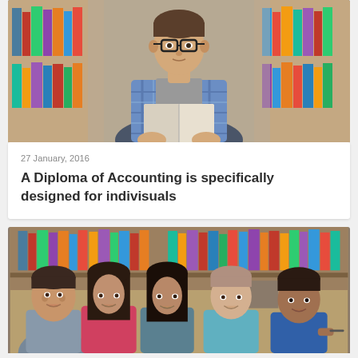[Figure (photo): Young man with glasses reading a book in a library, wearing a plaid shirt]
27 January, 2016
A Diploma of Accounting is specifically designed for indivisuals
[Figure (photo): Group of five smiling students in a library, posing together]